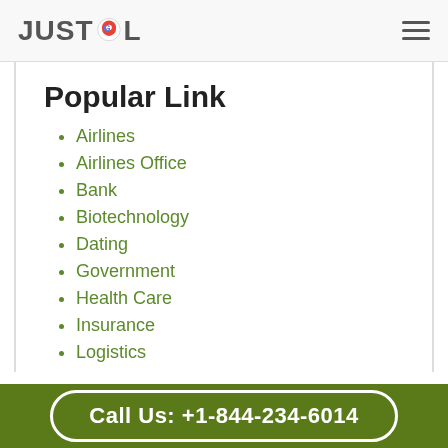JUSTCOL
Popular Link
Airlines
Airlines Office
Bank
Biotechnology
Dating
Government
Health Care
Insurance
Logistics
Real Estate
Shopping
Call Us: +1-844-234-6014